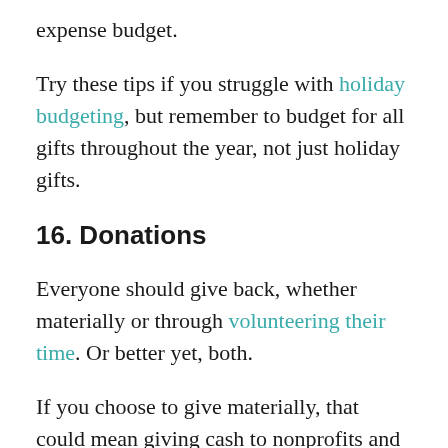expense budget.
Try these tips if you struggle with holiday budgeting, but remember to budget for all gifts throughout the year, not just holiday gifts.
16. Donations
Everyone should give back, whether materially or through volunteering their time. Or better yet, both.
If you choose to give materially, that could mean giving cash to nonprofits and charities that fit your beliefs. But it can also mean giving away possessions you no longer need or use. That includes clothes, electronics, furniture, even cars,